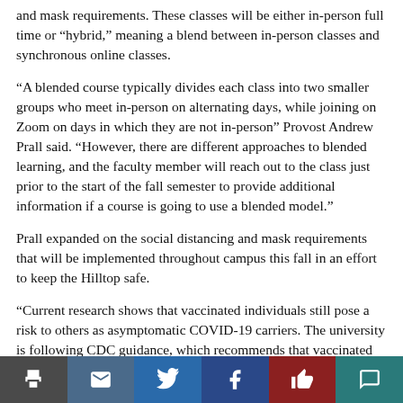and mask requirements. These classes will be either in-person full time or “hybrid,” meaning a blend between in-person classes and synchronous online classes.
“A blended course typically divides each class into two smaller groups who meet in-person on alternating days, while joining on Zoom on days in which they are not in-person” Provost Andrew Prall said. “However, there are different approaches to blended learning, and the faculty member will reach out to the class just prior to the start of the fall semester to provide additional information if a course is going to use a blended model.”
Prall expanded on the social distancing and mask requirements that will be implemented throughout campus this fall in an effort to keep the Hilltop safe.
“Current research shows that vaccinated individuals still pose a risk to others as asymptomatic COVID-19 carriers. The university is following CDC guidance, which recommends that vaccinated
[Figure (other): Social sharing toolbar with icons for print, email, Twitter, Facebook, like/thumbs-up, and comment]